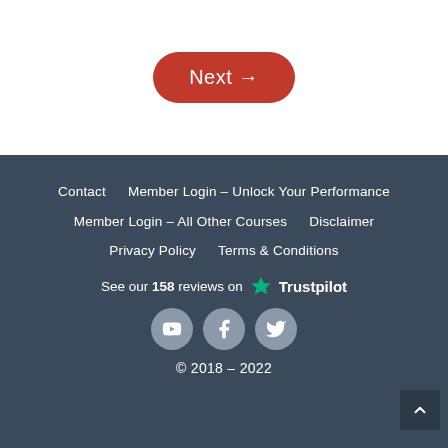Next →
Contact   Member Login – Unlock Your Performance   Member Login – All Other Courses   Disclaimer   Privacy Policy   Terms & Conditions   See our 158 reviews on Trustpilot   © 2018 – 2022